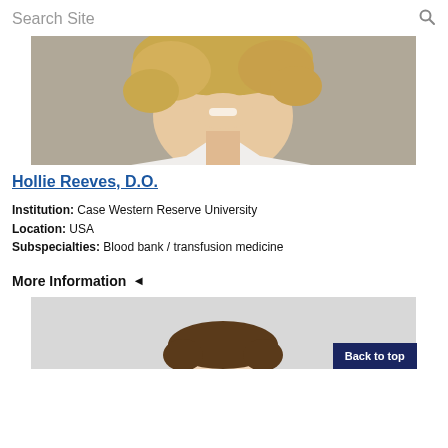Search Site
[Figure (photo): Partial photo of a woman with curly blonde hair and white coat, cropped to show face/neck/shoulders]
Hollie Reeves, D.O.
Institution: Case Western Reserve University
Location: USA
Subspecialties: Blood bank / transfusion medicine
More Information ◄
[Figure (photo): Partial photo of a man with dark hair, cropped to show top of head, light gray background. Back to top button visible.]